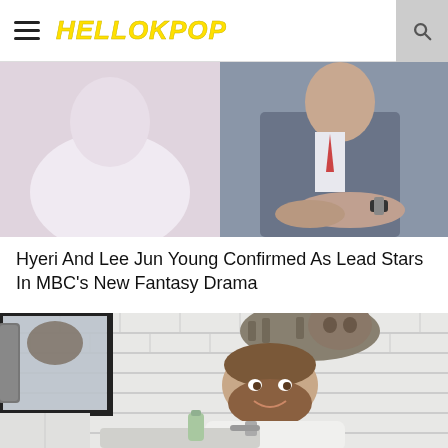HELLOKPOP
[Figure (photo): Two people (likely Hyeri and Lee Jun Young) sitting side by side; a woman in a light dress on the left, a man in a grey suit with watch on the right, hands clasped]
Hyeri And Lee Jun Young Confirmed As Lead Stars In MBC's New Fantasy Drama
[Figure (photo): A bearded man in a white t-shirt leaning over a bathroom sink, with a tabby cat standing on his head/shoulders, white subway tile walls behind, mirror reflection visible on left]